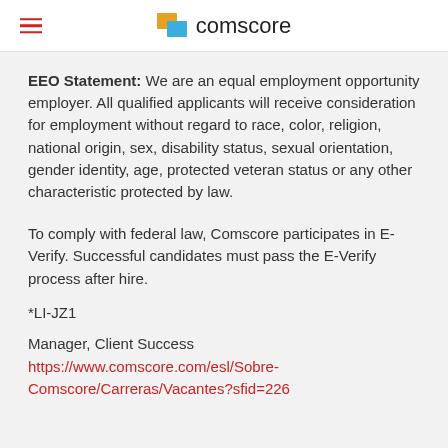comscore
EEO Statement: We are an equal employment opportunity employer. All qualified applicants will receive consideration for employment without regard to race, color, religion, national origin, sex, disability status, sexual orientation, gender identity, age, protected veteran status or any other characteristic protected by law.
To comply with federal law, Comscore participates in E-Verify. Successful candidates must pass the E-Verify process after hire.
*LI-JZ1
Manager, Client Success
https://www.comscore.com/esl/Sobre-Comscore/Carreras/Vacantes?sfid=226